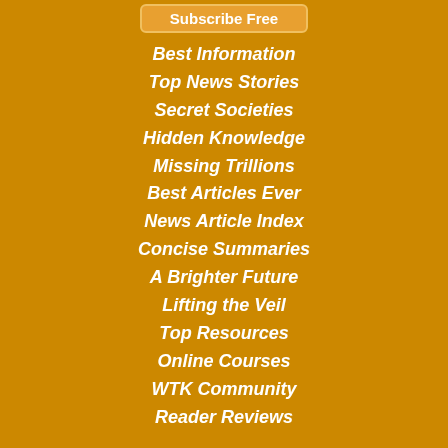Subscribe Free
Best Information
Top News Stories
Secret Societies
Hidden Knowledge
Missing Trillions
Best Articles Ever
News Article Index
Concise Summaries
A Brighter Future
Lifting the Veil
Top Resources
Online Courses
WTK Community
Reader Reviews